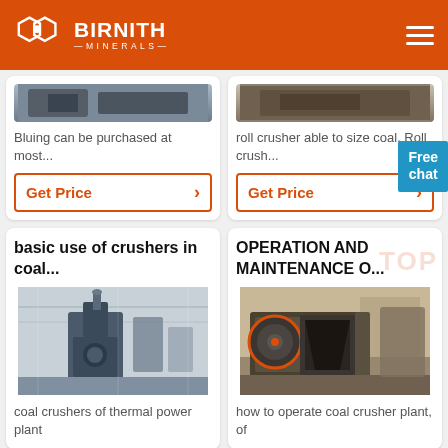BIRNITH MINERALS
[Figure (photo): Partial view of industrial equipment image (top card left)]
Bluing can be purchased at most...
Get Price
[Figure (photo): Partial view of industrial roll crusher image (top card right)]
roll crusher able to size coal. Roll crush...
Get Price
Free chat
basic use of crushers in coal...
[Figure (photo): Industrial coal mill/pulverizer in factory setting]
coal crushers of thermal power plant
OPERATION AND MAINTENANCE O...
[Figure (photo): Industrial jaw crusher machine on factory floor]
how to operate coal crusher plant, of